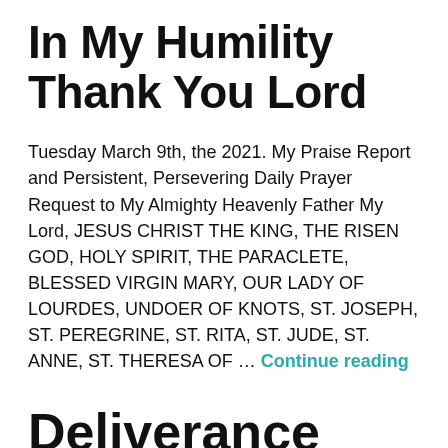In My Humility Thank You Lord
Tuesday March 9th, the 2021. My Praise Report and Persistent, Persevering Daily Prayer Request to My Almighty Heavenly Father My Lord, JESUS CHRIST THE KING, THE RISEN GOD, HOLY SPIRIT, THE PARACLETE, BLESSED VIRGIN MARY, OUR LADY OF LOURDES, UNDOER OF KNOTS, ST. JOSEPH, ST. PEREGRINE, ST. RITA, ST. JUDE, ST. ANNE, ST. THERESA OF … Continue reading
Deliverance